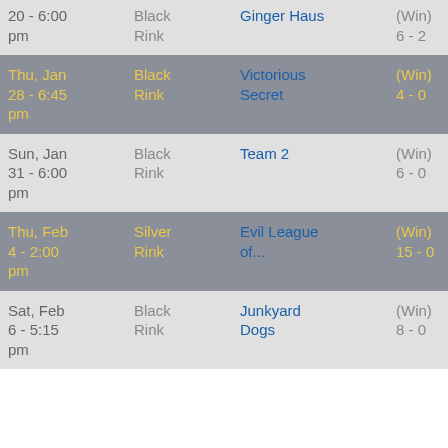| Date | Rink | Opponent | Result | Pts |
| --- | --- | --- | --- | --- |
| 20 - 6:00 pm | Black Rink | Ginger Haus | (Win) 6 - 2 | 0 |
| Thu, Jan 28 - 6:45 pm | Black Rink | Victorious Secret | (Win) 4 - 0 | 0 |
| Sun, Jan 31 - 6:00 pm | Black Rink | Team 2 | (Win) 6 - 0 | 0 |
| Thu, Feb 4 - 2:00 pm | Silver Rink | Evil League of... | (Win) 15 - 0 | 0 |
| Sat, Feb 6 - 5:15 pm | Black Rink | Junkyard Dogs | (Win) 8 - 0 | 0 |